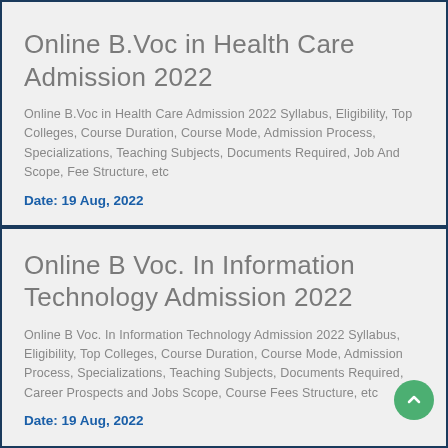Online B.Voc in Health Care Admission 2022
Online B.Voc in Health Care Admission 2022 Syllabus, Eligibility, Top Colleges, Course Duration, Course Mode, Admission Process, Specializations, Teaching Subjects, Documents Required, Job And Scope, Fee Structure, etc
Date: 19 Aug, 2022
Online B Voc. In Information Technology Admission 2022
Online B Voc. In Information Technology Admission 2022 Syllabus, Eligibility, Top Colleges, Course Duration, Course Mode, Admission Process, Specializations, Teaching Subjects, Documents Required, Career Prospects and Jobs Scope, Course Fees Structure, etc
Date: 19 Aug, 2022